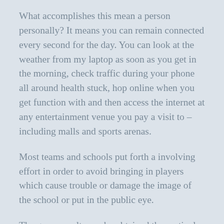What accomplishes this mean a person personally? It means you can remain connected every second for the day. You can look at the weather from my laptop as soon as you get in the morning, check traffic during your phone all around health stuck, hop online when you get function with and then access the internet at any entertainment venue you pay a visit to – including malls and sports arenas.
Most teams and schools put forth a involving effort in order to avoid bringing in players which cause trouble or damage the image of the school or put in the public eye.
The game results can be obtained the particular busy soccer fans. They are able to get eating habits study at the end of their fingers. Live soccer